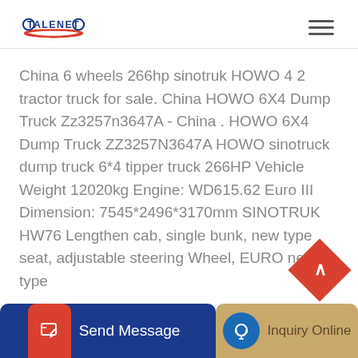TALENET
China 6 wheels 266hp sinotruk HOWO 4 2 tractor truck for sale. China HOWO 6X4 Dump Truck Zz3257n3647A - China . HOWO 6X4 Dump Truck ZZ3257N3647A HOWO sinotruck dump truck 6*4 tipper truck 266HP Vehicle Weight 12020kg Engine: WD615.62 Euro III Dimension: 7545*2496*3170mm SINOTRUK HW76 Lengthen cab, single bunk, new type seat, adjustable steering Wheel, EURO new type ...